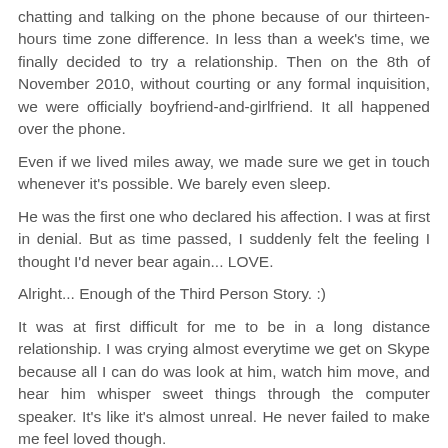chatting and talking on the phone because of our thirteen-hours time zone difference. In less than a week's time, we finally decided to try a relationship. Then on the 8th of November 2010, without courting or any formal inquisition, we were officially boyfriend-and-girlfriend. It all happened over the phone.
Even if we lived miles away, we made sure we get in touch whenever it's possible. We barely even sleep.
He was the first one who declared his affection. I was at first in denial. But as time passed, I suddenly felt the feeling I thought I'd never bear again... LOVE.
Alright... Enough of the Third Person Story. :)
It was at first difficult for me to be in a long distance relationship. I was crying almost everytime we get on Skype because all I can do was look at him, watch him move, and hear him whisper sweet things through the computer speaker. It's like it's almost unreal. He never failed to make me feel loved though.